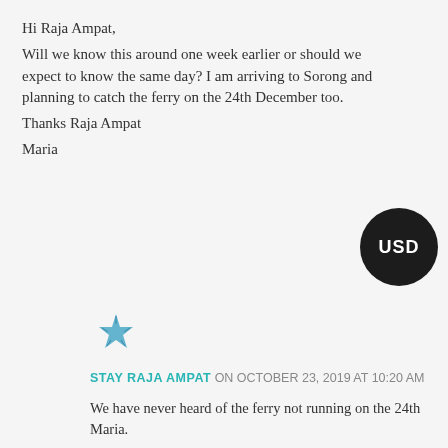Hi Raja Ampat,
Will we know this around one week earlier or should we expect to know the same day? I am arriving to Sorong and planning to catch the ferry on the 24th December too.
Thanks Raja Ampat
Maria
[Figure (illustration): Blue starfish icon used as commenter avatar]
STAY RAJA AMPAT ON OCTOBER 23, 2019 AT 10:20 AM
We have never heard of the ferry not running on the 24th Maria.

As above, we won't know about the service on the 25th until a week or so beforehand at earliest.